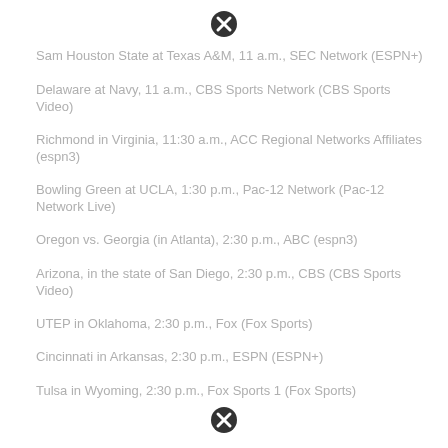Sam Houston State at Texas A&M, 11 a.m., SEC Network (ESPN+)
Delaware at Navy, 11 a.m., CBS Sports Network (CBS Sports Video)
Richmond in Virginia, 11:30 a.m., ACC Regional Networks Affiliates (espn3)
Bowling Green at UCLA, 1:30 p.m., Pac-12 Network (Pac-12 Network Live)
Oregon vs. Georgia (in Atlanta), 2:30 p.m., ABC (espn3)
Arizona, in the state of San Diego, 2:30 p.m., CBS (CBS Sports Video)
UTEP in Oklahoma, 2:30 p.m., Fox (Fox Sports)
Cincinnati in Arkansas, 2:30 p.m., ESPN (ESPN+)
Tulsa in Wyoming, 2:30 p.m., Fox Sports 1 (Fox Sports)